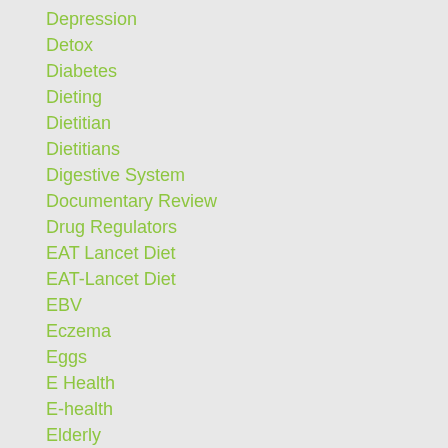Depression
Detox
Diabetes
Dieting
Dietitian
Dietitians
Digestive System
Documentary Review
Drug Regulators
EAT Lancet Diet
EAT-Lancet Diet
EBV
Eczema
Eggs
E Health
E-health
Elderly
Endocrine Disruptors
Endometriosis